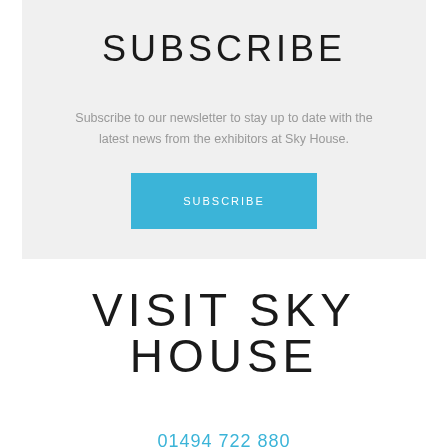SUBSCRIBE
Subscribe to our newsletter to stay up to date with the latest news from the exhibitors at Sky House.
[Figure (other): Blue subscribe button with white text reading SUBSCRIBE]
VISIT SKY HOUSE
01494 722 880
info@skyhousedesigncentre.com